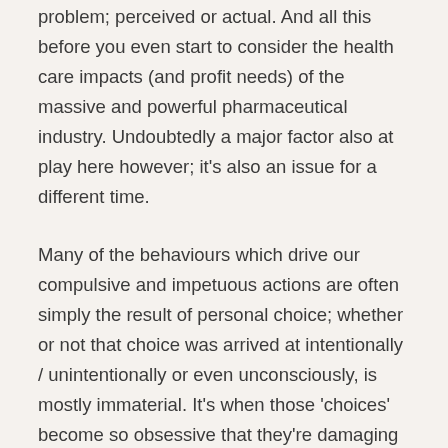problem; perceived or actual. And all this before you even start to consider the health care impacts (and profit needs) of the massive and powerful pharmaceutical industry. Undoubtedly a major factor also at play here however; it's also an issue for a different time.
Many of the behaviours which drive our compulsive and impetuous actions are often simply the result of personal choice; whether or not that choice was arrived at intentionally / unintentionally or even unconsciously, is mostly immaterial. It's when those 'choices' become so obsessive that they're damaging to our health that is of concern. It's also the time when we immediately rush to 'label' it and define it as a 'disease' to 'suffer' from. But the label is often little more than a convenient excuse; one